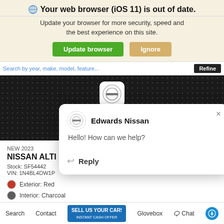Your web browser (iOS 11) is out of date.
Update your browser for more security, speed and the best experience on this site.
Update browser   Ignore
Search by year, make, model, feature...   Refine
[Figure (photo): Dark dotted background car listing image area with Nissan logo badge visible at top center]
NEW 2023
NISSAN ALTI
Stock: SF54442
VIN: 1N4BL4DW1P
Exterior: Red
Interior: Charcoal
[Figure (screenshot): Edwards Nissan chat popup with logo, greeting 'Hello! How can we help?' and Reply button]
Search   Contact   SELL US YOUR CAR! INSTANT CASH OFFER   Glovebox   Chat   (accessibility icon)